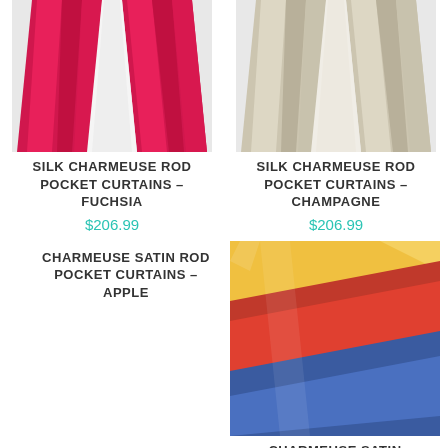[Figure (photo): Fuchsia/pink silk charmeuse rod pocket curtains hanging]
SILK CHARMEUSE ROD POCKET CURTAINS – FUCHSIA
$206.99
[Figure (photo): Champagne/beige silk charmeuse rod pocket curtains hanging]
SILK CHARMEUSE ROD POCKET CURTAINS – CHAMPAGNE
$206.99
[Figure (photo): Colorful charmeuse satin fabric close-up showing yellow, red and blue diagonal folds]
CHARMEUSE SATIN
$2.99
CHARMEUSE SATIN ROD POCKET CURTAINS – APPLE